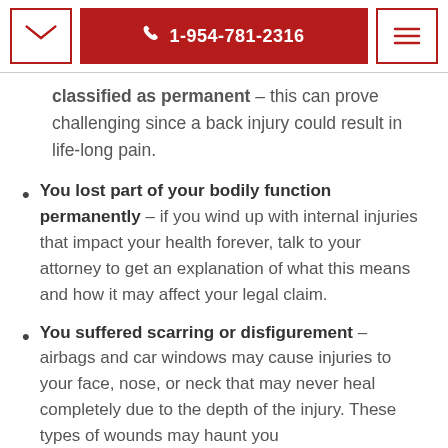1-954-781-2316
classified as permanent – this can prove challenging since a back injury could result in life-long pain.
You lost part of your bodily function permanently – if you wind up with internal injuries that impact your health forever, talk to your attorney to get an explanation of what this means and how it may affect your legal claim.
You suffered scarring or disfigurement – airbags and car windows may cause injuries to your face, nose, or neck that may never heal completely due to the depth of the injury. These types of wounds may haunt you